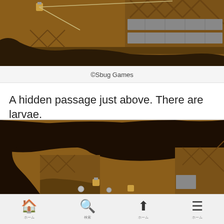[Figure (screenshot): Pixel art platformer game screenshot showing a character with a rope/grapple swinging above a wooden platform structure with crates. Brown/dark themed environment with crosshatch patterns on the right wall.]
©Sbug Games
A hidden passage just above. There are larvae.
[Figure (screenshot): Pixel art platformer game screenshot showing a character moving through a dark cave/tunnel area with brown earth and wooden crate structures. Another small character or object visible on a slope.]
🏠 ホーム  🔍 検索  ⬆ ホーム  ≡ ホーム